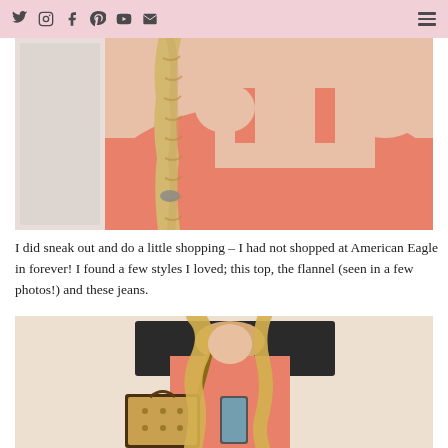Social media icons (Twitter, Instagram, Facebook, Pinterest, YouTube, Email) and hamburger menu
[Figure (photo): Close-up photo of a woman with a long blonde braid wearing a salmon/coral pink tank top, taken as a mirror selfie]
I did sneak out and do a little shopping – I had not shopped at American Eagle in forever! I found a few styles I loved; this top, the flannel (seen in a few photos!) and these jeans.
[Figure (photo): Photo of a blonde woman looking down at her phone in what appears to be a fitting room, carrying a Louis Vuitton bag and wearing a coral/salmon top]